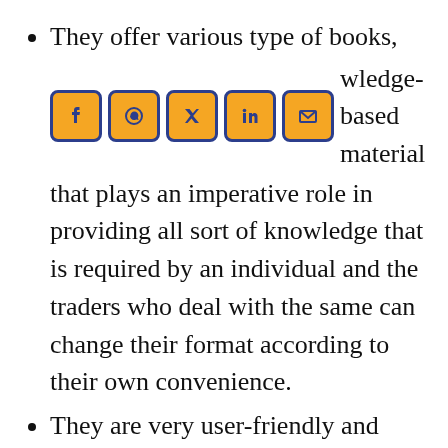They offer various type of books, multimedia and knowledge-based material that plays an imperative role in providing all sort of knowledge that is required by an individual and the traders who deal with the same can change their format according to their own convenience.
They are very user-friendly and assists others in case of difficulties and other issues. They are not at all difficult to handle. You can easily deal with them as they are quite easy to deal with without many dilemmas. All the information is also provided in a very easy manner and